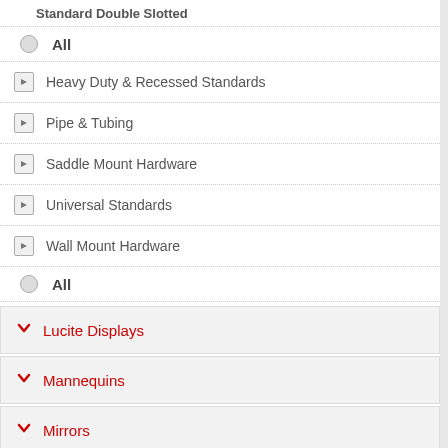All
Heavy Duty & Recessed Standards
Pipe & Tubing
Saddle Mount Hardware
Universal Standards
Wall Mount Hardware
All
Lucite Displays
Mannequins
Mirrors
Packaging - Bags, Boxes & Tissue
Racks
Rolling Cases & Luggage